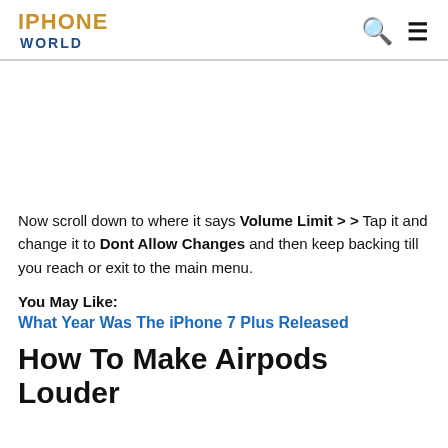IPHONE WORLD
Now scroll down to where it says Volume Limit > > Tap it and change it to Dont Allow Changes and then keep backing till you reach or exit to the main menu.
You May Like:
What Year Was The iPhone 7 Plus Released
How To Make Airpods Louder